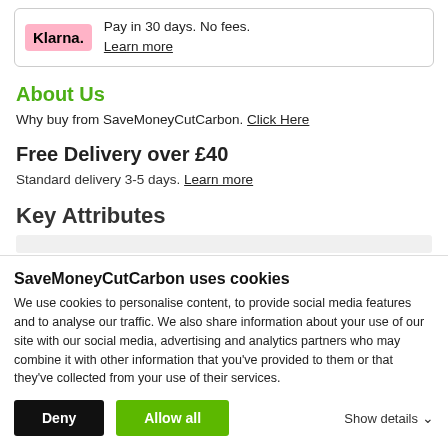[Figure (logo): Klarna logo (pink background) with text: Pay in 30 days. No fees. Learn more]
About Us
Why buy from SaveMoneyCutCarbon. Click Here
Free Delivery over £40
Standard delivery 3-5 days. Learn more
Key Attributes
SaveMoneyCutCarbon uses cookies
We use cookies to personalise content, to provide social media features and to analyse our traffic. We also share information about your use of our site with our social media, advertising and analytics partners who may combine it with other information that you've provided to them or that they've collected from your use of their services.
Deny  Allow all  Show details